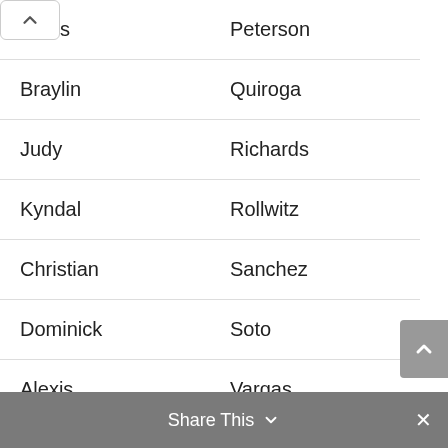| First Name | Last Name |
| --- | --- |
| Davis | Peterson |
| Braylin | Quiroga |
| Judy | Richards |
| Kyndal | Rollwitz |
| Christian | Sanchez |
| Dominick | Soto |
| Alexis | Vargas |
| Kyndall | Weathers |
| Brody | Wilde |
Share This ∨  ×